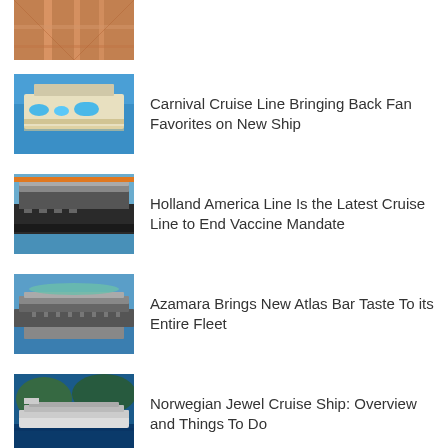[Figure (photo): Aerial view of a cruise ship deck with colorful walkways]
[Figure (photo): Aerial view of a cruise ship with pools and deck chairs]
Carnival Cruise Line Bringing Back Fan Favorites on New Ship
[Figure (photo): Side view of a large cruise ship docked at port]
Holland America Line Is the Latest Cruise Line to End Vaccine Mandate
[Figure (photo): A smaller cruise ship sailing in water with mountains in background]
Azamara Brings New Atlas Bar Taste To its Entire Fleet
[Figure (photo): Norwegian Jewel cruise ship in blue water near mountains]
Norwegian Jewel Cruise Ship: Overview and Things To Do
[Figure (photo): Partial view of a cruise ship near the waterline]
Carnival Sees Cruise Bookings Double After